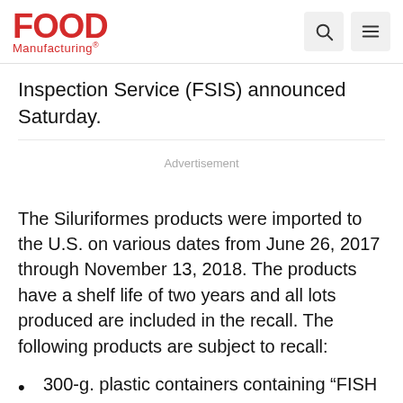Food Manufacturing
Inspection Service (FSIS) announced Saturday.
Advertisement
The Siluriformes products were imported to the U.S. on various dates from June 26, 2017 through November 13, 2018. The products have a shelf life of two years and all lots produced are included in the recall. The following products are subject to recall:
300-g. plastic containers containing “FISH PASTE.”
300-g. plastic containers containing